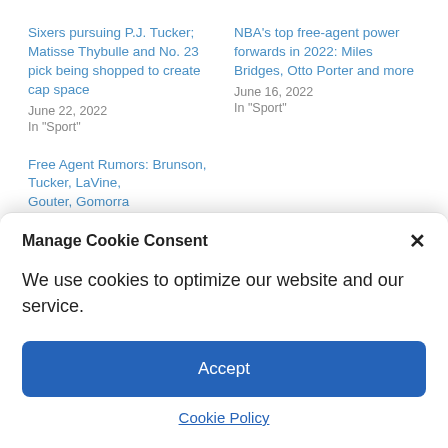Sixers pursuing P.J. Tucker; Matisse Thybulle and No. 23 pick being shopped to create cap space
June 22, 2022
In "Sport"
NBA's top free-agent power forwards in 2022: Miles Bridges, Otto Porter and more
June 16, 2022
In "Sport"
Free Agent Rumors: Brunson, Tucker, LaVine, Gouter, Gomorra
Manage Cookie Consent
We use cookies to optimize our website and our service.
Accept
Cookie Policy